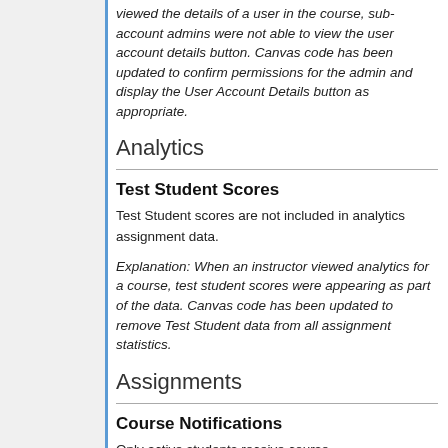viewed the details of a user in the course, sub-account admins were not able to view the user account details button. Canvas code has been updated to confirm permissions for the admin and display the User Account Details button as appropriate.
Analytics
Test Student Scores
Test Student scores are not included in analytics assignment data.
Explanation: When an instructor viewed analytics for a course, test student scores were appearing as part of the data. Canvas code has been updated to remove Test Student data from all assignment statistics.
Assignments
Course Notifications
Only active students receive course